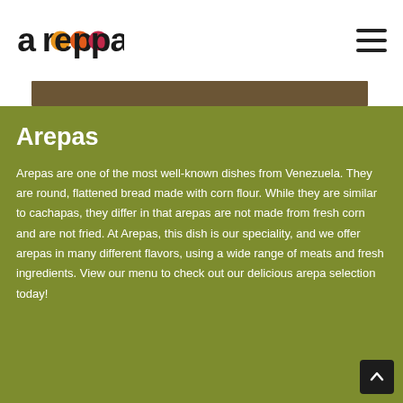areppas
[Figure (logo): areppas logo with colorful 'pp' letters in orange, red, and dark tones on white background]
Arepas
Arepas are one of the most well-known dishes from Venezuela. They are round, flattened bread made with corn flour. While they are similar to cachapas, they differ in that arepas are not made from fresh corn and are not fried. At Arepas, this dish is our speciality, and we offer arepas in many different flavors, using a wide range of meats and fresh ingredients. View our menu to check out our delicious arepa selection today!